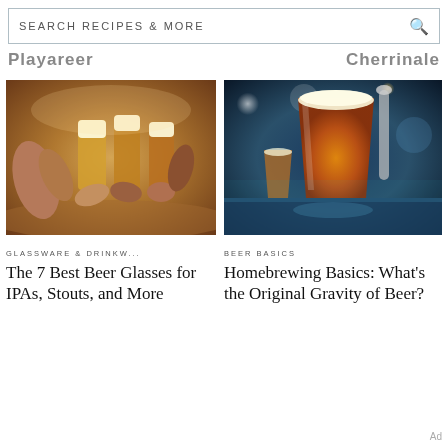SEARCH RECIPES & MORE
Playareer  Cherrinale
[Figure (photo): Multiple hands clinking beer glasses together in a toast, warm amber beers, bar setting]
GLASSWARE & DRINKW...
The 7 Best Beer Glasses for IPAs, Stouts, and More
[Figure (photo): A pint of amber beer on a bar counter with bokeh lights in the background]
BEER BASICS
Homebrewing Basics: What's the Original Gravity of Beer?
Ad